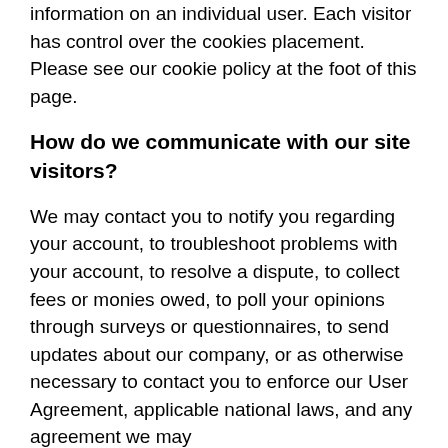information on an individual user. Each visitor has control over the cookies placement. Please see our cookie policy at the foot of this page.
How do we communicate with our site visitors?
We may contact you to notify you regarding your account, to troubleshoot problems with your account, to resolve a dispute, to collect fees or monies owed, to poll your opinions through surveys or questionnaires, to send updates about our company, or as otherwise necessary to contact you to enforce our User Agreement, applicable national laws, and any agreement we may